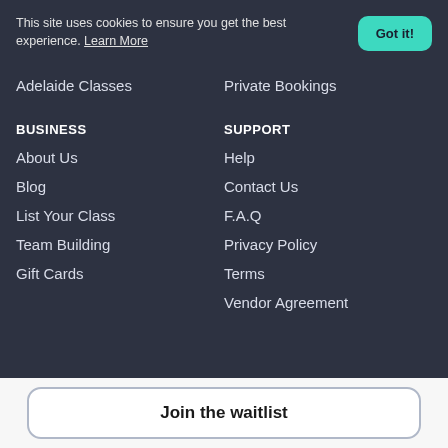This site uses cookies to ensure you get the best experience. Learn More
Got it!
Adelaide Classes
Private Bookings
BUSINESS
SUPPORT
About Us
Help
Blog
Contact Us
List Your Class
F.A.Q
Team Building
Privacy Policy
Gift Cards
Terms
Vendor Agreement
Join the waitlist